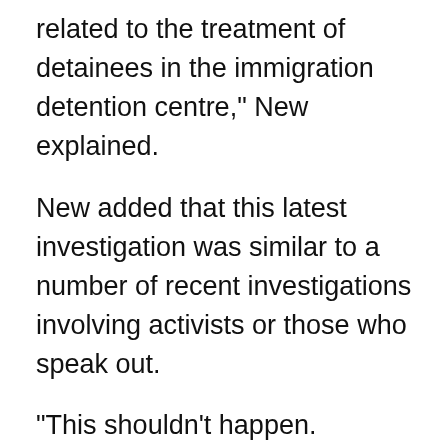related to the treatment of detainees in the immigration detention centre," New explained.
New added that this latest investigation was similar to a number of recent investigations involving activists or those who speak out.
“This shouldn't happen. Everyone is just trying to highlight certain issues which could be done better,” he said.
Regarding the confiscation of Quah's phone, New said it was a normal practice.
“They normally do this as part of their investigation but the way we see it is that it is a form of harassment when there is no